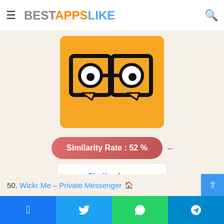BESTAPPSLIKE
[Figure (logo): App icon on orange/yellow background featuring two speech bubbles with cartoon eyes (like eyeglasses), forming a face. Black outline style on golden-yellow background.]
Similarity Rate : 52 %
Similar Apps
50. Wickr Me – Private Messenger
Facebook | Twitter | WhatsApp | Telegram